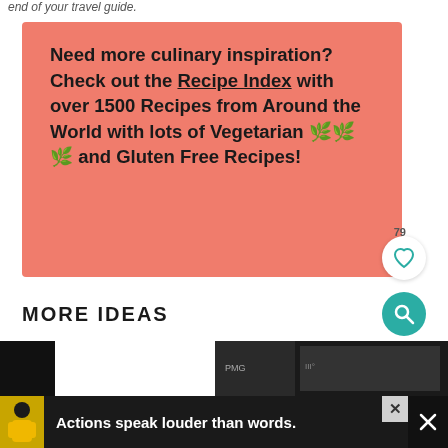end of your travel guide.
Need more culinary inspiration? Check out the Recipe Index with over 1500 Recipes from Around the World with lots of Vegetarian 🌿🌿🌿 and Gluten Free Recipes!
MORE IDEAS
[Figure (photo): Dark image strip at bottom of page]
[Figure (infographic): Advertisement banner: Actions speak louder than words. with person illustration and close button]